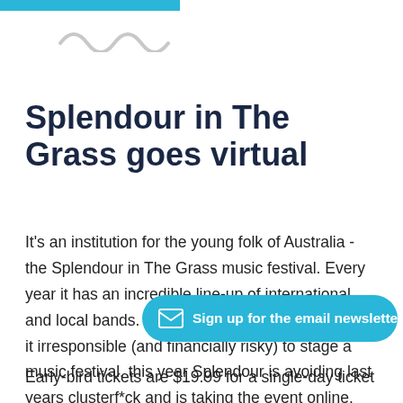[Figure (illustration): Teal/cyan horizontal bar at top left corner of page]
[Figure (illustration): Wavy squiggle decorative icon in light grey, positioned near top left]
Splendour in The Grass goes virtual
It's an institution for the young folk of Australia - the Splendour in The Grass music festival. Every year it has an incredible line-up of international and local bands. With the stupid virus still making it irresponsible (and financially risky) to stage a music festival, this year Splendour is avoiding last years clusterf*ck and is taking the event online. Music fans can stream performances
[Figure (other): Cyan rounded pill-shaped button with envelope icon and text: Sign up for the email newsletter]
Early-bird tickets are $19.99 for a single-day ticket